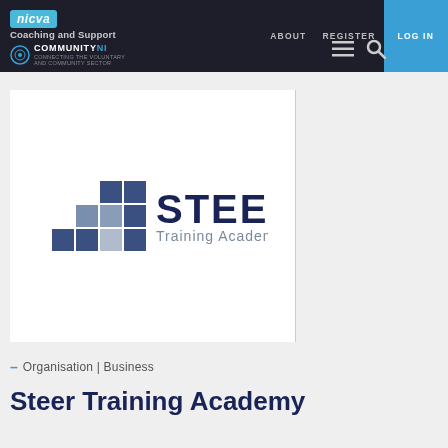nicva | Coaching and Support | COMMUNITY NI | ABOUT | REGISTER | LOG IN
[Figure (logo): STEER Training Academy logo with dark blue staircase/grid icon and bold STEER text with Training Academy subtitle]
– Organisation | Business
Steer Training Academy
SUITE 21 ARMAGH BUSINESS PARK